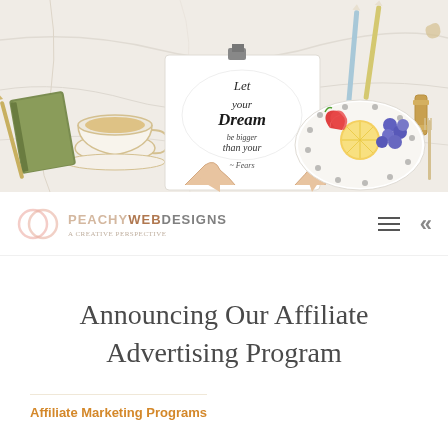[Figure (photo): Top-down lifestyle flatlay showing hands holding a calligraphy card reading 'Let your dream be bigger than your fears', surrounded by a tea cup, green notebook, pencils, and a plate with strawberries, lemon slices, and blueberries on a white marble surface.]
[Figure (logo): Peachy Web Designs logo: circular pink/peach ring icon with overlapping circles, beside the text PEACHY WEB DESIGNS in pink and gray, with tagline beneath.]
Announcing Our Affiliate Advertising Program
Affiliate Marketing Programs